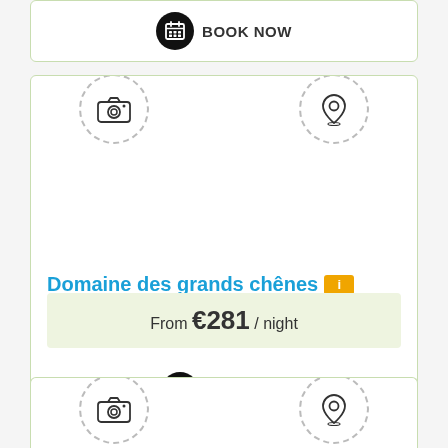[Figure (screenshot): Top card partially visible with Book Now button and calendar icon]
[Figure (screenshot): Main property listing card with camera icon, map pin icon, property name 'Domaine des grands chênes', price from €281 per night, and Book Now button]
Domaine des grands chênes
From €281 / night
Book Now
[Figure (screenshot): Bottom card partially visible with camera icon and map pin icon]